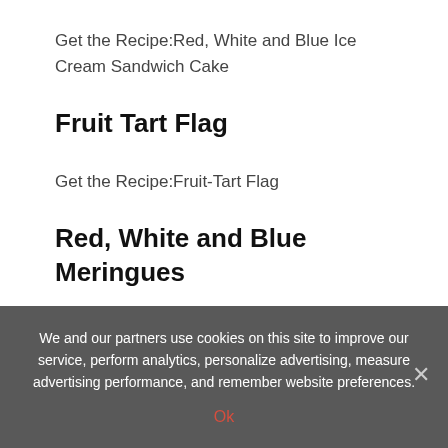Get the Recipe:Red, White and Blue Ice Cream Sandwich Cake
Fruit Tart Flag
Get the Recipe:Fruit-Tart Flag
Red, White and Blue Meringues
These red, white and blue meringues are easy to make and use a clever decorating trick: Paint lines of food coloring up the sides of a pastry bag before filling it
We and our partners use cookies on this site to improve our service, perform analytics, personalize advertising, measure advertising performance, and remember website preferences.
Ok